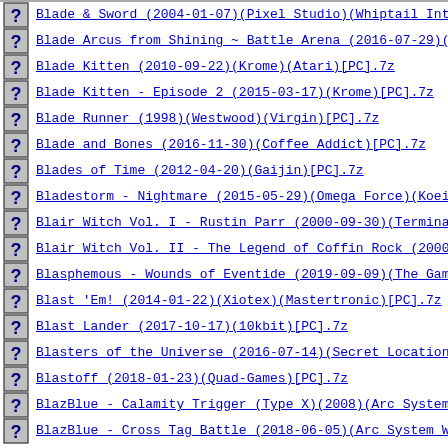Blade & Sword (2004-01-07)(Pixel Studio)(Whiptail Int
Blade Arcus from Shining ~ Battle Arena (2016-07-29)(
Blade Kitten (2010-09-22)(Krome)(Atari)[PC].7z
Blade Kitten - Episode 2 (2015-03-17)(Krome)[PC].7z
Blade Runner (1998)(Westwood)(Virgin)[PC].7z
Blade and Bones (2016-11-30)(Coffee Addict)[PC].7z
Blades of Time (2012-04-20)(Gaijin)[PC].7z
Bladestorm - Nightmare (2015-05-29)(Omega Force)(Koei
Blair Witch Vol. I - Rustin Parr (2000-09-30)(Termina
Blair Witch Vol. II - The Legend of Coffin Rock (2000
Blasphemous - Wounds of Eventide (2019-09-09)(The Gam
Blast 'Em! (2014-01-22)(Xiotex)(Mastertronic)[PC].7z
Blast Lander (2017-10-17)(10kbit)[PC].7z
Blasters of the Universe (2016-07-14)(Secret Location
Blastoff (2018-01-23)(Quad-Games)[PC].7z
BlazBlue - Calamity Trigger (Type X)(2008)(Arc System
BlazBlue - Cross Tag Battle (2018-06-05)(Arc System W